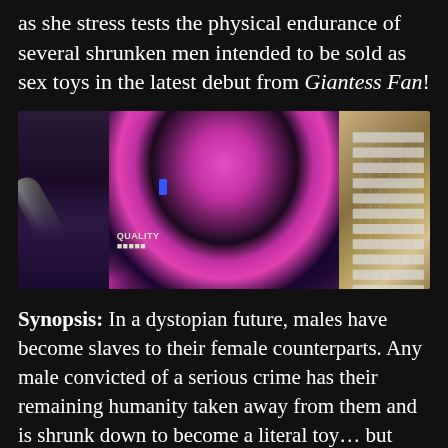as she stress tests the physical endurance of several shrunken men intended to be sold as sex toys in the latest debut from Giantess Fan!
[Figure (illustration): Comic book style illustration showing a large female figure in a dark pink and black bodysuit, with a small blue figure visible at her side, and a laptop/keyboard visible to the right. Text reading QUALITY visible in lower left area.]
Synopsis: In a dystopian future, males have become slaves to their female counterparts. Any male convicted of a serious crime has their remaining humanity taken away from them and is shrunk down to become a literal toy... but they aren't meant to be a cheap toy. They